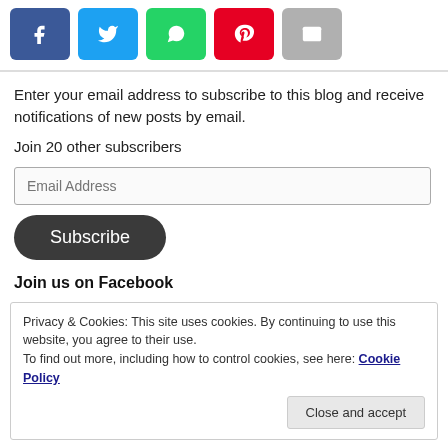[Figure (other): Social sharing buttons: Facebook (blue), Twitter (light blue), WhatsApp (green), Pinterest (red), Email (gray)]
Enter your email address to subscribe to this blog and receive notifications of new posts by email.
Join 20 other subscribers
[Figure (other): Email Address input field]
[Figure (other): Subscribe button (dark rounded)]
Join us on Facebook
Privacy & Cookies: This site uses cookies. By continuing to use this website, you agree to their use.
To find out more, including how to control cookies, see here: Cookie Policy
[Figure (other): Close and accept button]
Trending